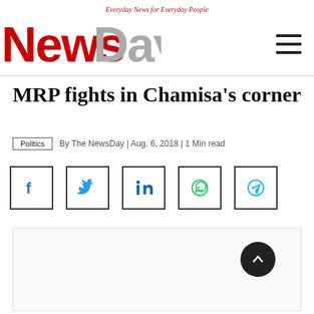Everyday News for Everyday People — NewsDay
MRP fights in Chamisa's corner
Politics | By The NewsDay | Aug. 6, 2018 | 1 Min read
[Figure (other): Social media share buttons: Facebook, Twitter, LinkedIn, WhatsApp, Telegram]
[Figure (photo): Article image placeholder]